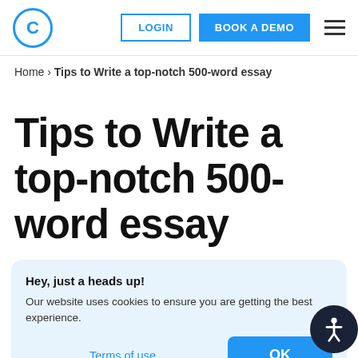C  LOGIN  BOOK A DEMO  ≡
Home › Tips to Write a top-notch 500-word essay
Tips to Write a top-notch 500-word essay
Hey, just a heads up!
Our website uses cookies to ensure you are getting the best experience.
Terms of use   OK